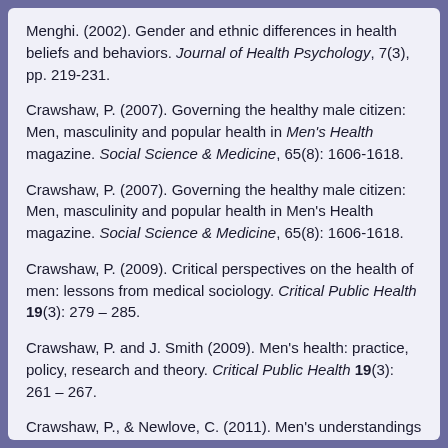Menghi. (2002). Gender and ethnic differences in health beliefs and behaviors. Journal of Health Psychology, 7(3), pp. 219-231.
Crawshaw, P. (2007). Governing the healthy male citizen: Men, masculinity and popular health in Men's Health magazine. Social Science & Medicine, 65(8): 1606-1618.
Crawshaw, P. (2007). Governing the healthy male citizen: Men, masculinity and popular health in Men's Health magazine. Social Science & Medicine, 65(8): 1606-1618.
Crawshaw, P. (2009). Critical perspectives on the health of men: lessons from medical sociology. Critical Public Health 19(3): 279 – 285.
Crawshaw, P. and J. Smith (2009). Men's health: practice, policy, research and theory. Critical Public Health 19(3): 261 – 267.
Crawshaw, P., & Newlove, C. (2011). Men's understandings